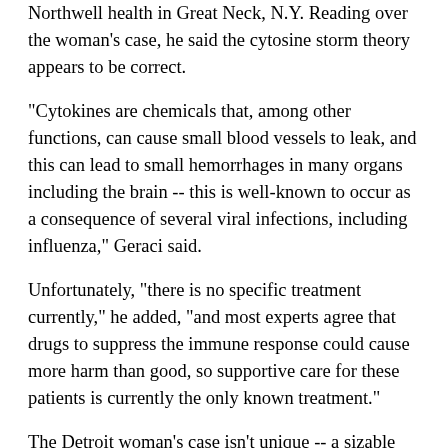Northwell health in Great Neck, N.Y. Reading over the woman's case, he said the cytosine storm theory appears to be correct.
"Cytokines are chemicals that, among other functions, can cause small blood vessels to leak, and this can lead to small hemorrhages in many organs including the brain -- this is well-known to occur as a consequence of several viral infections, including influenza," Geraci said.
Unfortunately, "there is no specific treatment currently," he added, "and most experts agree that drugs to suppress the immune response could cause more harm than good, so supportive care for these patients is currently the only known treatment."
The Detroit woman's case isn't unique -- a sizable minority of COVID-19 patients are presenting at hospitals with confusion, seizures and other signs of brain impairment, researchers report.
For example, in early March a 74-year-old man in Boca Raton was brought to a hospital emergency room by family members. He was unable to speak and his arms and legs were flailing about in what appeared to be a seizure. The